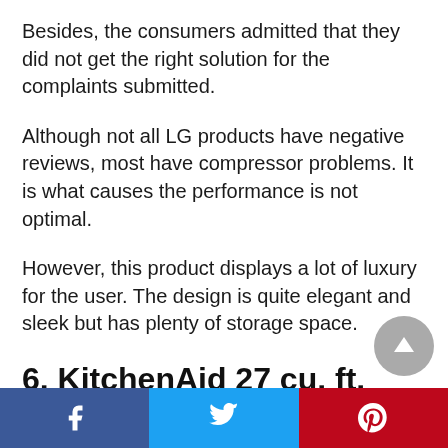Besides, the consumers admitted that they did not get the right solution for the complaints submitted.
Although not all LG products have negative reviews, most have compressor problems. It is what causes the performance is not optimal.
However, this product displays a lot of luxury for the user. The design is quite elegant and sleek but has plenty of storage space.
6. KitchenAid 27 cu. ft. French